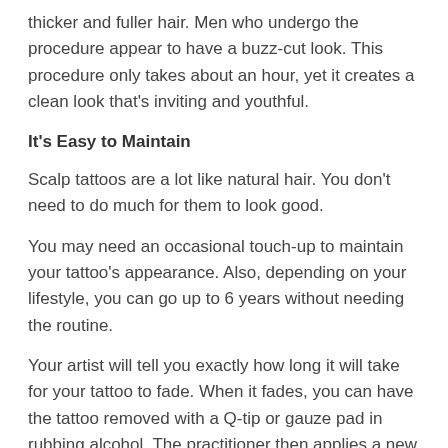thicker and fuller hair. Men who undergo the procedure appear to have a buzz-cut look. This procedure only takes about an hour, yet it creates a clean look that's inviting and youthful.
It's Easy to Maintain
Scalp tattoos are a lot like natural hair. You don't need to do much for them to look good.
You may need an occasional touch-up to maintain your tattoo's appearance. Also, depending on your lifestyle, you can go up to 6 years without needing the routine.
Your artist will tell you exactly how long it will take for your tattoo to fade. When it fades, you can have the tattoo removed with a Q-tip or gauze pad in rubbing alcohol. The practitioner then applies a new color using a cotton swab or brush to get the hair back to its original color.
Hair Loss Types That Benefit From Scalp Tattoos